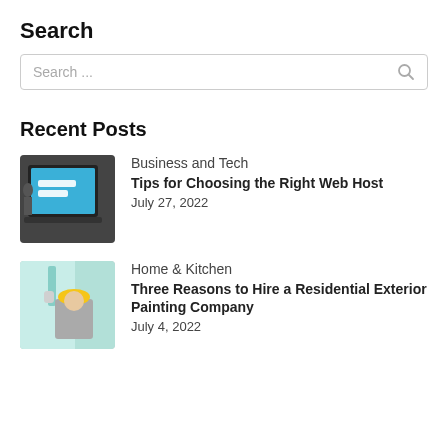Search
[Figure (screenshot): Search input box with placeholder text 'Search ...' and a magnifying glass icon on the right]
Recent Posts
[Figure (photo): Laptop screen showing 'Hosting Solutions' text on a blue background]
Business and Tech
Tips for Choosing the Right Web Host
July 27, 2022
[Figure (photo): Worker in yellow hard hat painting a wall with a roller, paint tray visible]
Home & Kitchen
Three Reasons to Hire a Residential Exterior Painting Company
July 4, 2022